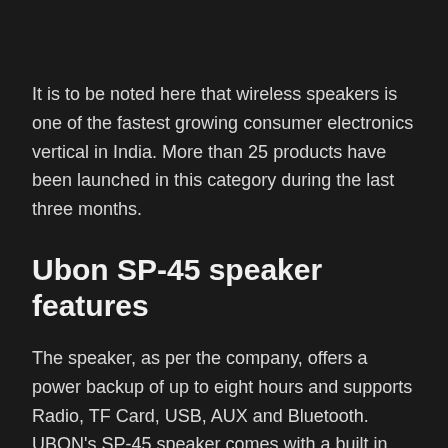It is to be noted here that wireless speakers is one of the fastest growing consumer electronics vertical in India. More than 25 products have been launched in this category during the last three months.
Ubon SP-45 speaker features
The speaker, as per the company, offers a power backup of up to eight hours and supports Radio, TF Card, USB, AUX and Bluetooth. UBON's SP-45 speaker comes with a built in microphone to receive calls & incorporates Li-on battery. In addition to this, the speaker comes with a external phone holder placed right at the top of the speaker that allows one to place the phone on the speaker without any worry.